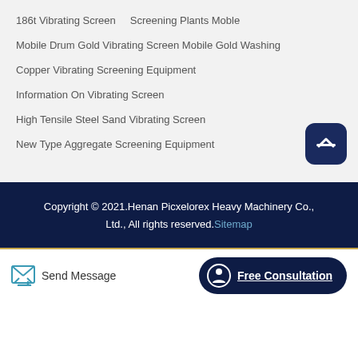186t Vibrating Screen    Screening Plants Moble
Mobile Drum Gold Vibrating Screen Mobile Gold Washing
Copper Vibrating Screening Equipment
Information On Vibrating Screen
High Tensile Steel Sand Vibrating Screen
New Type Aggregate Screening Equipment
Copyright © 2021.Henan Picxelorex Heavy Machinery Co., Ltd., All rights reserved. Sitemap
Send Message
Free Consultation